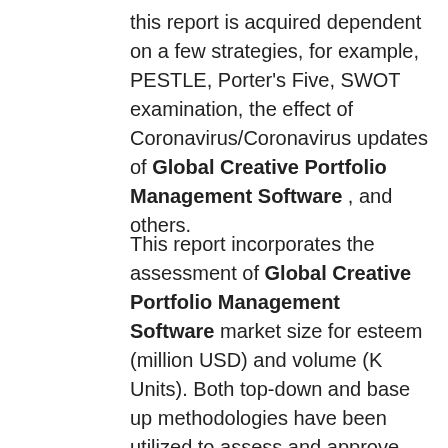this report is acquired dependent on a few strategies, for example, PESTLE, Porter's Five, SWOT examination, the effect of Coronavirus/Coronavirus updates of Global Creative Portfolio Management Software , and others.
This report incorporates the assessment of Global Creative Portfolio Management Software market size for esteem (million USD) and volume (K Units). Both top-down and base up methodologies have been utilized to assess and approve the market size of the Global Creative Portfolio Management Software market, to gauge the Global Creative Portfolio Management Software size of different other ward